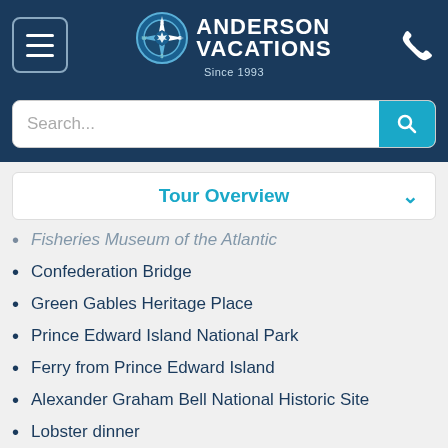[Figure (logo): Anderson Vacations logo with compass icon, text 'ANDERSON VACATIONS Since 1993' on dark navy background header with hamburger menu and phone icon]
[Figure (screenshot): Search bar with placeholder text 'Search...' and teal search button]
Tour Overview
Fisheries Museum of the Atlantic
Confederation Bridge
Green Gables Heritage Place
Prince Edward Island National Park
Ferry from Prince Edward Island
Alexander Graham Bell National Historic Site
Lobster dinner
Cape Breton Highlands National Park
Fortress of Louisbourg National Historic Site